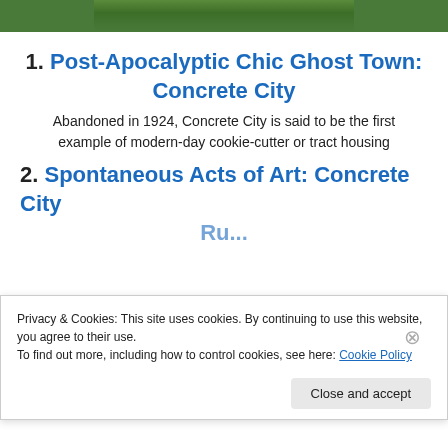[Figure (photo): Partial photo of green vegetation/plants at the top of the page]
1. Post-Apocalyptic Chic Ghost Town: Concrete City
Abandoned in 1924, Concrete City is said to be the first example of modern-day cookie-cutter or tract housing
2. Spontaneous Acts of Art: Concrete City
Privacy & Cookies: This site uses cookies. By continuing to use this website, you agree to their use. To find out more, including how to control cookies, see here: Cookie Policy
Close and accept